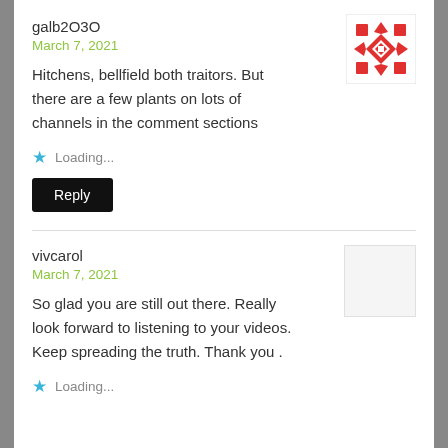galb2030
March 7, 2021
Hitchens, bellfield both traitors. But there are a few plants on lots of channels in the comment sections
Loading...
Reply
vivcarol
March 7, 2021
So glad you are still out there. Really look forward to listening to your videos. Keep spreading the truth. Thank you .
Loading...